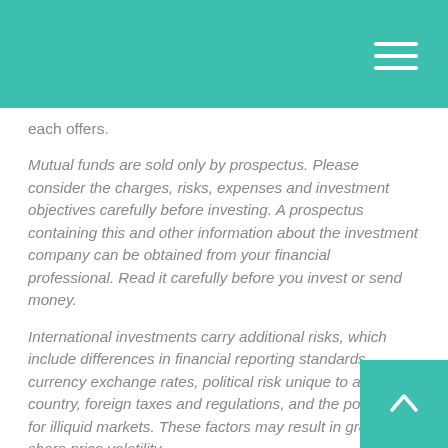each offers.
Mutual funds are sold only by prospectus. Please consider the charges, risks, expenses and investment objectives carefully before investing. A prospectus containing this and other information about the investment company can be obtained from your financial professional. Read it carefully before you invest or send money.
International investments carry additional risks, which include differences in financial reporting standards, currency exchange rates, political risk unique to a specific country, foreign taxes and regulations, and the potential for illiquid markets. These factors may result in greater share price volatility.
1. Keep in mind that the return and principal value of stock prices will fluctuate as market conditions change. And shares, when sold, may be worth more or less than